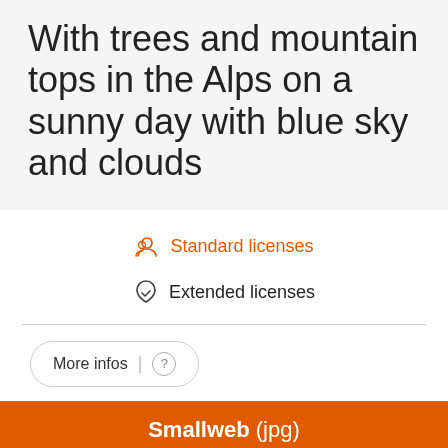With trees and mountain tops in the Alps on a sunny day with blue sky and clouds
Standard licenses
Extended licenses
More infos
Smallweb (jpg)
| Width * Height | 450 px * 300 px |
| --- | --- |
| MB | 0.20 |